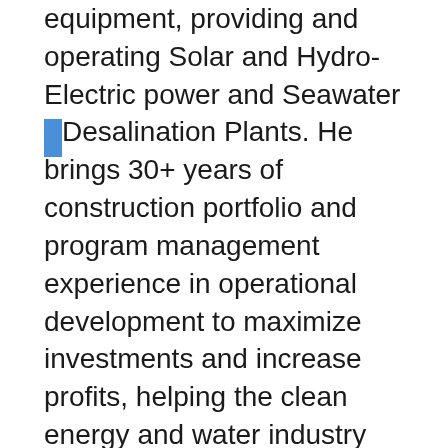equipment, providing and operating Solar and Hydro-Electric power and Seawater Desalination Plants. He brings 30+ years of construction portfolio and program management experience in operational development to maximize investments and increase profits, helping the clean energy and water industry worldwide.
Mr. Jennings has a skill set that surpasses most individuals in the field of clean energy, water and auditing locations for installation of both energy and water equipment. His ability to work with and train cities and governments in the field of clean energy and water has lead him to be a leader in clean energy and water. He has sales and marketing strengths that include business